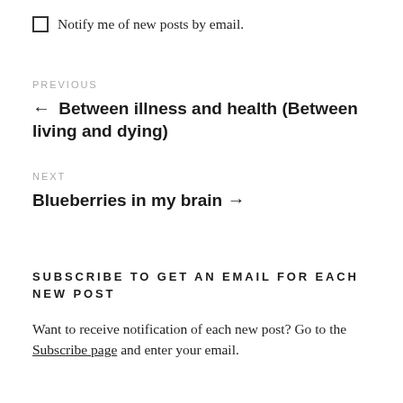Notify me of new posts by email.
← Between illness and health (Between living and dying)
Blueberries in my brain →
SUBSCRIBE TO GET AN EMAIL FOR EACH NEW POST
Want to receive notification of each new post? Go to the Subscribe page and enter your email.